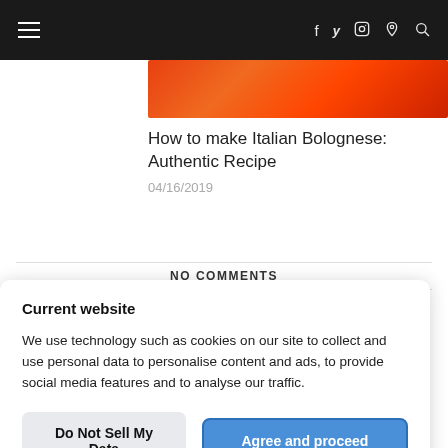≡  f  𝕏  ☉  𝕡  🔍
[Figure (photo): Orange/red bokeh background image strip]
How to make Italian Bolognese: Authentic Recipe
04/16/2019
NO COMMENTS
Current website
We use technology such as cookies on our site to collect and use personal data to personalise content and ads, to provide social media features and to analyse our traffic.
Do Not Sell My Data  |  Agree and proceed
Powered by OniConsent